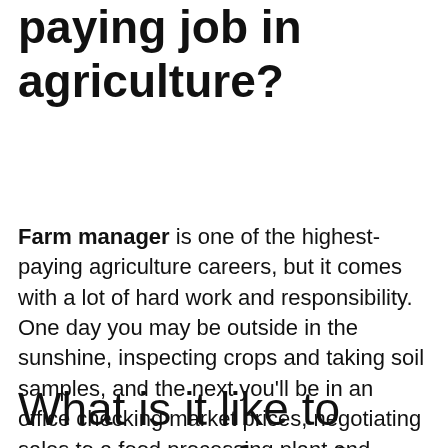What is the highest paying job in agriculture?
Farm manager is one of the highest-paying agriculture careers, but it comes with a lot of hard work and responsibility. One day you may be outside in the sunshine, inspecting crops and taking soil samples, and the next you'll be in an office checking market prices, negotiating sales to a food processing plant and creating financial reports.
What is it like to manage a farm?